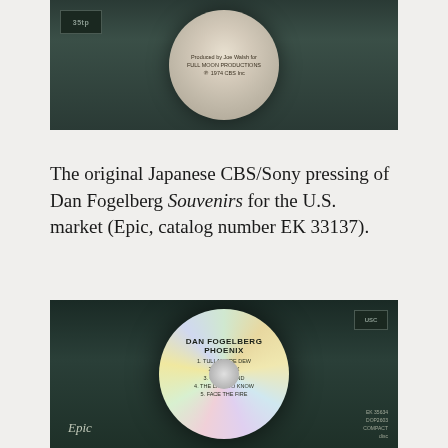[Figure (photo): Top portion of a CD in a jewel case, showing the disc label with text 'Produced by Joe Walsh for FULL MOON PRODUCTIONS' and '© 1974 CBS Inc', with a CBS logo visible on the left side of the case]
The original Japanese CBS/Sony pressing of Dan Fogelberg Souvenirs for the U.S. market (Epic, catalog number EK 33137).
[Figure (photo): A CD disc labeled 'DAN FOGELBERG PHOENIX' with track listing: 1. TULLAMORE DEW, 2. PHOENIX, 3. GYPSY WIND, 4. THE LAST TO KNOW, 5. FACE THE FIRE. The Epic logo is visible at the bottom left, and catalog number EK 35634 is at the bottom right.]